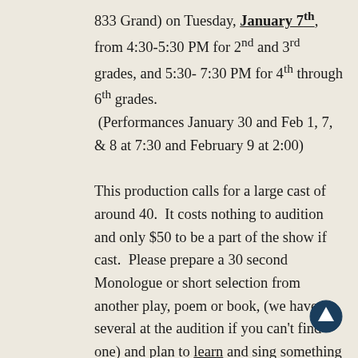833 Grand) on Tuesday, January 7th, from 4:30-5:30 PM for 2nd and 3rd grades, and 5:30-7:30 PM for 4th through 6th grades. (Performances January 30 and Feb 1, 7, & 8 at 7:30 and February 9 at 2:00)

This production calls for a large cast of around 40. It costs nothing to audition and only $50 to be a part of the show if cast. Please prepare a 30 second Monologue or short selection from another play, poem or book, (we have several at the audition if you can't find one) and plan to learn and sing something for us at the audition. Don't worry if you don't have experience, we'll have materials at the theatre for you. Wear comfortable shoes that you can move in, as we will be moving around